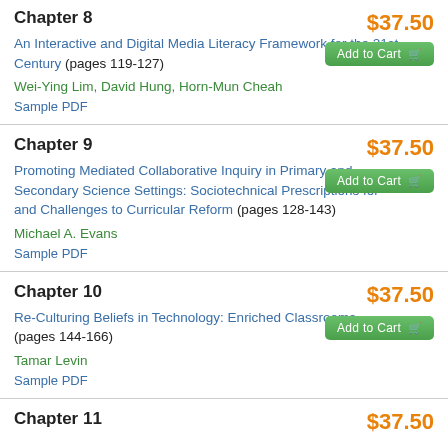Chapter 8
$37.50
An Interactive and Digital Media Literacy Framework for the 21st Century (pages 119-127)
Wei-Ying Lim, David Hung, Horn-Mun Cheah
Sample PDF
Chapter 9
$37.50
Promoting Mediated Collaborative Inquiry in Primary and Secondary Science Settings: Sociotechnical Prescriptions for and Challenges to Curricular Reform (pages 128-143)
Michael A. Evans
Sample PDF
Chapter 10
$37.50
Re-Culturing Beliefs in Technology: Enriched Classrooms (pages 144-166)
Tamar Levin
Sample PDF
Chapter 11
$37.50